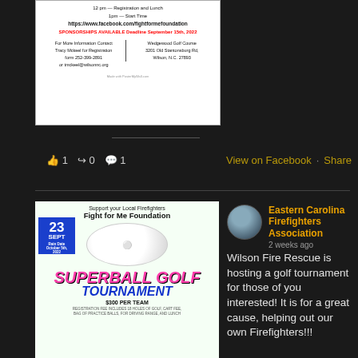[Figure (photo): Golf tournament flyer for Fight for Me Foundation at Wedgewood Golf Course, showing registration details, sponsorship info, and contact information for Tracy Mckeel.]
1  0  1
View on Facebook · Share
[Figure (photo): Superball Golf Tournament flyer: Support your Local Firefighters, Fight for Me Foundation, 23 Sept. Rain date October 5th, 2022. SUPERBALL GOLF TOURNAMENT, $300 per team. Registration fee includes 18 holes of golf, cart fee, bag of practice balls, driving range, and lunch.]
Eastern Carolina Firefighters Association
2 weeks ago
Wilson Fire Rescue is hosting a golf tournament for those of you interested! It is for a great cause, helping out our own Firefighters!!!